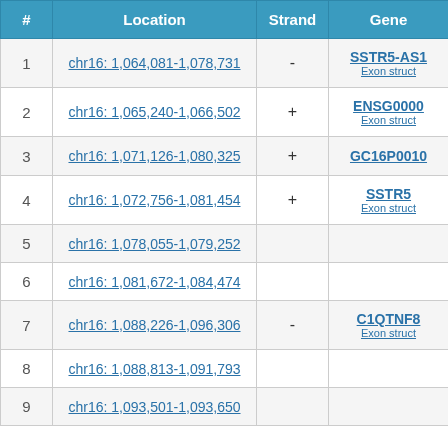| # | Location | Strand | Gene |
| --- | --- | --- | --- |
| 1 | chr16: 1,064,081-1,078,731 | - | SSTR5-AS1 Exon struct |
| 2 | chr16: 1,065,240-1,066,502 | + | ENSG00000 Exon struct |
| 3 | chr16: 1,071,126-1,080,325 | + | GC16P0010 |
| 4 | chr16: 1,072,756-1,081,454 | + | SSTR5 Exon struct |
| 5 | chr16: 1,078,055-1,079,252 |  |  |
| 6 | chr16: 1,081,672-1,084,474 |  |  |
| 7 | chr16: 1,088,226-1,096,306 | - | C1QTNF8 Exon struct |
| 8 | chr16: 1,088,813-1,091,793 |  |  |
| 9 | chr16: 1,093,501-1,093,650 |  |  |